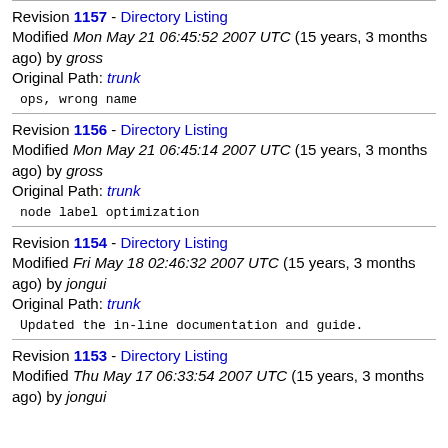Revision 1157 - Directory Listing
Modified Mon May 21 06:45:52 2007 UTC (15 years, 3 months ago) by gross
Original Path: trunk
ops, wrong name
Revision 1156 - Directory Listing
Modified Mon May 21 06:45:14 2007 UTC (15 years, 3 months ago) by gross
Original Path: trunk
node label optimization
Revision 1154 - Directory Listing
Modified Fri May 18 02:46:32 2007 UTC (15 years, 3 months ago) by jongui
Original Path: trunk
Updated the in-line documentation and guide.
Revision 1153 - Directory Listing
Modified Thu May 17 06:33:54 2007 UTC (15 years, 3 months ago) by jongui